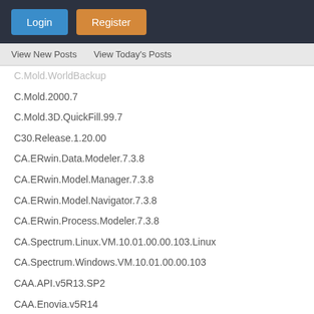Login | Register
View New Posts
View Today's Posts
C.Mold.2000.7
C.Mold.3D.QuickFill.99.7
C30.Release.1.20.00
CA.ERwin.Data.Modeler.7.3.8
CA.ERwin.Model.Manager.7.3.8
CA.ERwin.Model.Navigator.7.3.8
CA.ERwin.Process.Modeler.7.3.8
CA.Spectrum.Linux.VM.10.01.00.00.103.Linux
CA.Spectrum.Windows.VM.10.01.00.00.103
CAA.API.v5R13.SP2
CAA.Enovia.v5R14
CAA.RADE.v5.R20
CAAD.4.0
Cabinet.Vision.Solid.Ultimate.V8.0
CablEquity.2022
Cache.v7.5.0.85
Cacidi.Extreme.Suite.v6.0.for.Adobe.Indesign.CS2